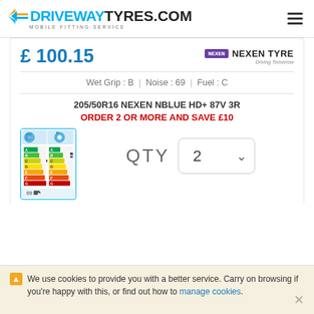[Figure (logo): Driveway Tyres logo with blue arrow and text, subtitle MOBILE FITTING SERVICE]
£ 100.15
[Figure (logo): Nexen Tyre brand logo with purple badge and Driving Tomorrow tagline]
Wet Grip : B  |  Noise : 69  |  Fuel : C
205/50R16 NEXEN NBLUE HD+ 87V 3R
ORDER 2 OR MORE AND SAVE £10
[Figure (other): EU tyre label showing fuel efficiency C and wet grip B ratings with rainbow bar chart]
QTY   2
We use cookies to provide you with a better service. Carry on browsing if you're happy with this, or find out how to manage cookies.